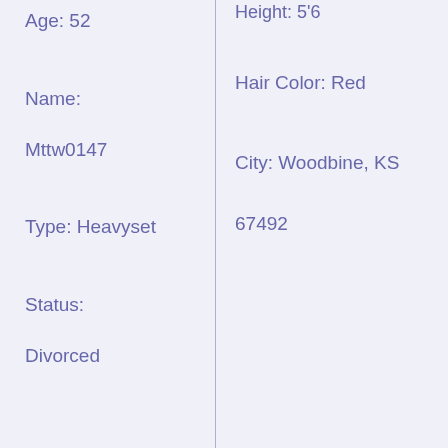Age: 52
Name:
Mttw0147
Type: Heavyset
Status:
Divorced
Height: 5'6
Hair Color: Red
City: Woodbine, KS
67492